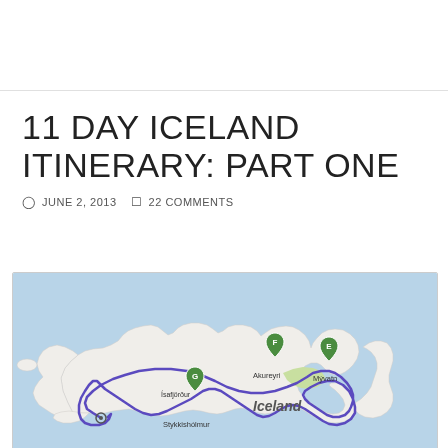11 DAY ICELAND ITINERARY: PART ONE
JUNE 2, 2013   22 COMMENTS
[Figure (map): Map of Iceland showing a road trip route marked in blue/purple, with labeled waypoints including G (Stykkishólmur area), F (near Akureyri), E (near Mývatn), and a starting point near Reykjavik. The route circles the northern and eastern coast of Iceland.]